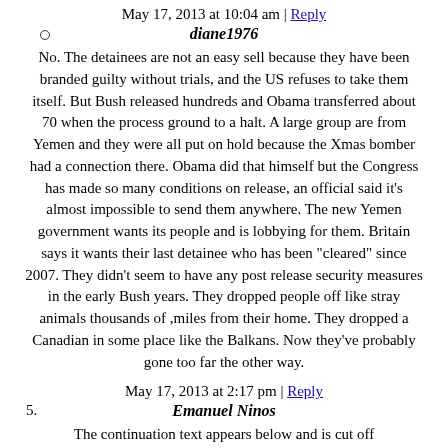May 17, 2013 at 10:04 am | Reply
diane1976
No. The detainees are not an easy sell because they have been branded guilty without trials, and the US refuses to take them itself. But Bush released hundreds and Obama transferred about 70 when the process ground to a halt. A large group are from Yemen and they were all put on hold because the Xmas bomber had a connection there. Obama did that himself but the Congress has made so many conditions on release, an official said it's almost impossible to send them anywhere. The new Yemen government wants its people and is lobbying for them. Britain says it wants their last detainee who has been "cleared" since 2007. They didn't seem to have any post release security measures in the early Bush years. They dropped people off like stray animals thousands of ,miles from their home. They dropped a Canadian in some place like the Balkans. Now they've probably gone too far the other way.
May 17, 2013 at 2:17 pm | Reply
5. Emanuel Ninos
The continuation text appears below and is cut off